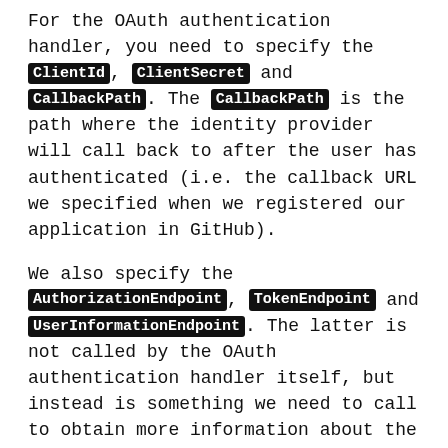For the OAuth authentication handler, you need to specify the ClientId, ClientSecret and CallbackPath. The CallbackPath is the path where the identity provider will call back to after the user has authenticated (i.e. the callback URL we specified when we registered our application in GitHub).
We also specify the AuthorizationEndpoint, TokenEndpoint and UserInformationEndpoint. The latter is not called by the OAuth authentication handler itself, but instead is something we need to call to obtain more information about the user (name, email address etc.)
This is what is happening in the OnCreatingTicket event in the code above. We call the UserInformationEndpoint and receive a JSON